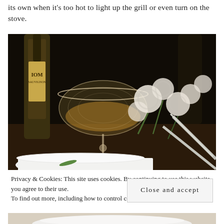its own when it's too hot to light up the grill or even turn on the stove.
[Figure (photo): A dark atmospheric dinner table scene with a vintage crystal coupe glass holding amber liquid, a wine bottle with partial label reading 'IOM', white carnation flowers, a white bowl with green herb, and silverware, all on a dark wooden table.]
Privacy & Cookies: This site uses cookies. By continuing to use this website, you agree to their use. To find out more, including how to control cookies, see here: Cookie Policy
Close and accept
[Figure (photo): Bottom strip of a food photo showing a white plate with food items visible.]